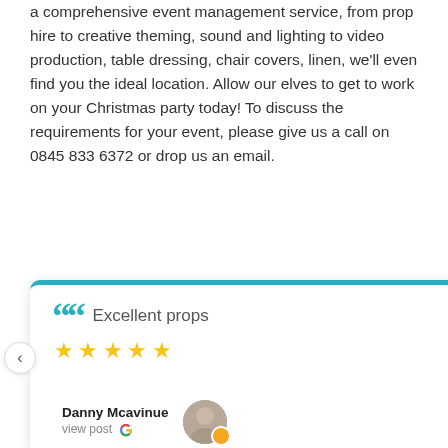a comprehensive event management service, from prop hire to creative theming, sound and lighting to video production, table dressing, chair covers, linen, we'll even find you the ideal location. Allow our elves to get to work on your Christmas party today! To discuss the requirements for your event, please give us a call on 0845 833 6372 or drop us an email.
[Figure (other): Customer review card with teal top border, large quotation marks, title 'Excellent props', five yellow stars, reviewer name 'Danny Mcavinue', 'view post' with Google G logo, and avatar. Navigation arrows on left and right. Snowy bokeh image partially visible on the right.]